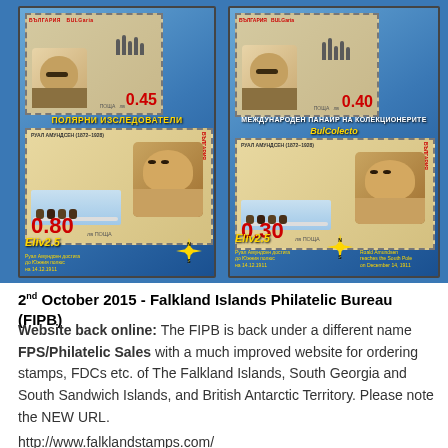[Figure (photo): Two Bulgarian postage stamp souvenir sheets featuring polar explorer Roald Amundsen (1872-1928). Left sheet shows stamps of 0.45 lv and 0.80 lv with text 'ПОЛЯРНИ ИЗСЛЕДОВАТЕЛИ' and 'Eliv25'. Right sheet shows stamps of 0.40 lv and 0.30 lv with 'МЕЖДУНАРОДЕН ПАНАИР НА КОЛЕКЦИОНЕРИТЕ BulColecto' and 'Eliv25'. Both sheets include compass rose and text about Amundsen reaching the South Pole on 14.12.1911.]
2nd October 2015 - Falkland Islands Philatelic Bureau (FIPB)
Website back online: The FIPB is back under a different name FPS/Philatelic Sales with a much improved website for ordering stamps, FDCs etc. of The Falkland Islands, South Georgia and South Sandwich Islands, and British Antarctic Territory. Please note the NEW URL.
http://www.falklandstamps.com/